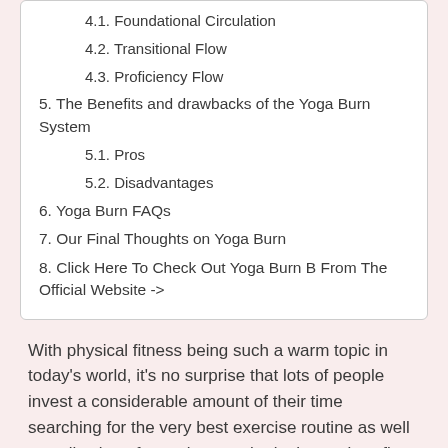4.1. Foundational Circulation
4.2. Transitional Flow
4.3. Proficiency Flow
5. The Benefits and drawbacks of the Yoga Burn System
5.1. Pros
5.2. Disadvantages
6. Yoga Burn FAQs
7. Our Final Thoughts on Yoga Burn
8. Click Here To Check Out Yoga Burn B From The Official Website ->
With physical fitness being such a warm topic in today’s world, it’s no surprise that lots of people invest a considerable amount of their time searching for the very best exercise routine as well as collection of exercises to obtain themselves fit.